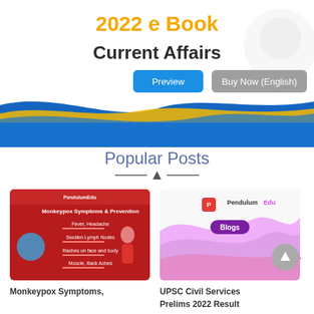[Figure (infographic): 2022 e Book Current Affairs promotional banner with Preview and Buy Now (English) buttons, wave decoration at bottom in blue and gold, faint ghost/mascot icon top right]
Popular Posts
[Figure (infographic): Monkeypox Symptoms & Prevention infographic by PendulumEdu on red background listing Fever/Headache, Swollen Lymph Nodes, Rashes on face and body, Muscle/Back Aches with a cartoon figure]
Monkeypox Symptoms,
[Figure (illustration): PendulumEdu Blogs banner with pink/purple wave design and PendulumEdu logo and Blogs badge]
UPSC Civil Services Prelims 2022 Result